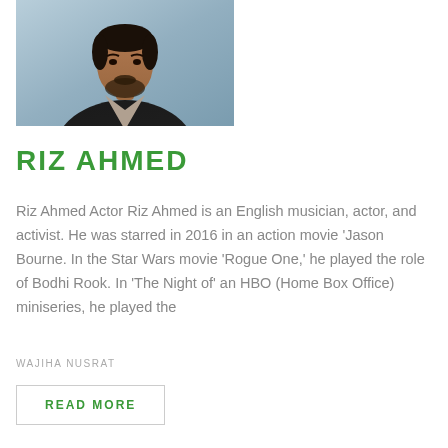[Figure (photo): Portrait photo of Riz Ahmed, a man with short dark hair and beard wearing a dark blazer over a light V-neck shirt, against a blue-grey background]
RIZ AHMED
Riz Ahmed Actor Riz Ahmed is an English musician, actor, and activist. He was starred in 2016 in an action movie 'Jason Bourne. In the Star Wars movie 'Rogue One,' he played the role of Bodhi Rook. In 'The Night of' an HBO (Home Box Office) miniseries, he played the
WAJIHA NUSRAT
READ MORE